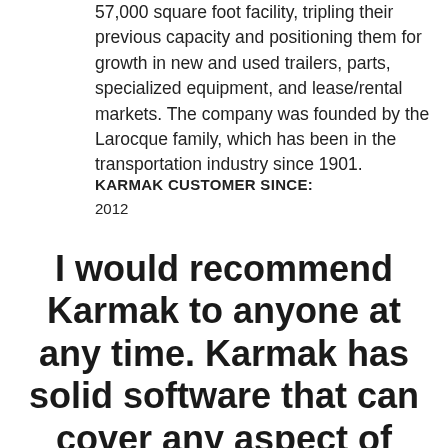57,000 square foot facility, tripling their previous capacity and positioning them for growth in new and used trailers, parts, specialized equipment, and lease/rental markets. The company was founded by the Larocque family, which has been in the transportation industry since 1901.
KARMAK CUSTOMER SINCE:
2012
I would recommend Karmak to anyone at any time. Karmak has solid software that can cover any aspect of your business.